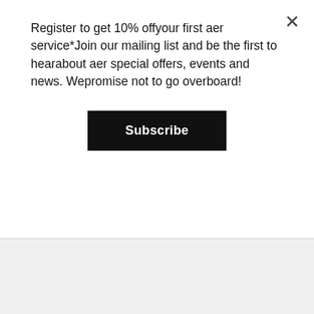Register to get 10% offyour first aer service*Join our mailing list and be the first to hearabout aer special offers, events and news. Wepromise not to go overboard!
Subscribe
threading as the go to technique to define and shape your eyebrows. On average, eyebrow threading takes 5-7 minutes. Thus it allows technicians to move with more speed than with tweezing. When done by a professional, the result is cleaner, more natural and beautiful eyebrows that can dramatically change the look of your entire face.